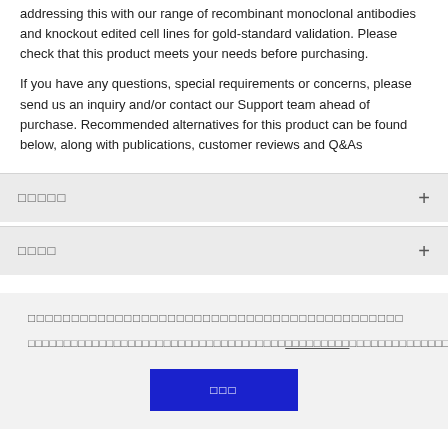addressing this with our range of recombinant monoclonal antibodies and knockout edited cell lines for gold-standard validation. Please check that this product meets your needs before purchasing.
If you have any questions, special requirements or concerns, please send us an inquiry and/or contact our Support team ahead of purchase. Recommended alternatives for this product can be found below, along with publications, customer reviews and Q&As
□□□□□
□□□□
□□□□□□□□□□□□□□□□□□□□□□□□□□□□□□□□□□□□□□□□□
□□□□□□□□□□□□□□□□□□□□□□□□□□□□□□□□□□□□□□□□□□□□□□□□□□□□□□□□□□□□□□□□□□□□□□□□□□□□□□□□□□□□□□□□
□□□